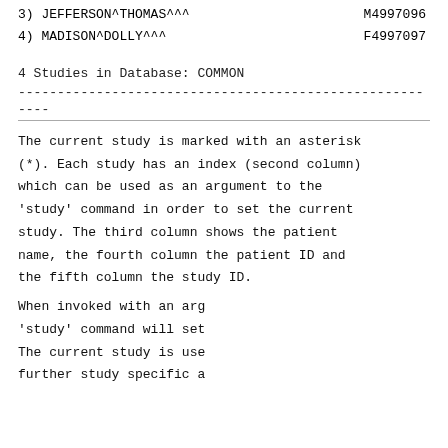3) JEFFERSON^THOMAS^^^    M4997096
4) MADISON^DOLLY^^^    F4997097
4 Studies in Database: COMMON
The current study is marked with an asterisk (*). Each study has an index (second column) which can be used as an argument to the 'study' command in order to set the current study. The third column shows the patient name, the fourth column the patient ID and the fifth column the study ID.
When invoked with an arg... 'study' command will set... The current study is use... further study specific a...